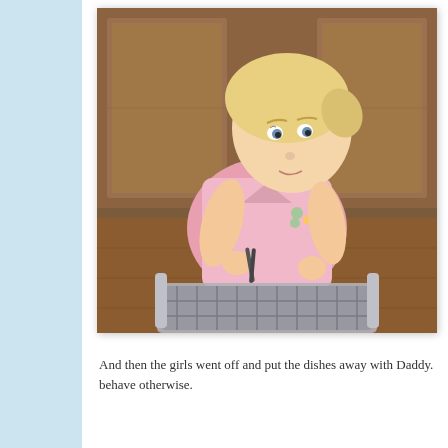[Figure (photo): A young blonde toddler girl wearing a pink shirt with floral embroidery, holding what appears to be tongs or scissors over a gray plastic basket/dish rack, in a kitchen setting with wooden cabinets in the background.]
And then the girls went off and put the dishes away with Daddy. behave otherwise.